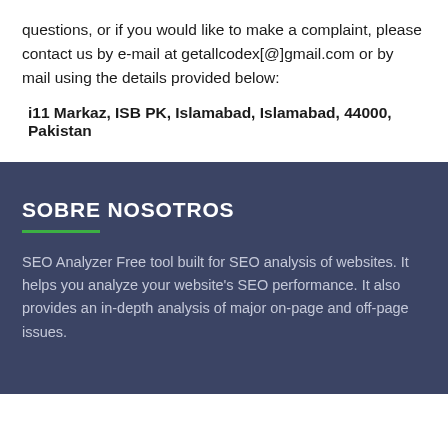questions, or if you would like to make a complaint, please contact us by e-mail at getallcodex[@]gmail.com or by mail using the details provided below:
i11 Markaz, ISB PK, Islamabad, Islamabad, 44000, Pakistan
SOBRE NOSOTROS
SEO Analyzer Free tool built for SEO analysis of websites. It helps you analyze your website's SEO performance. It also provides an in-depth analysis of major on-page and off-page issues.